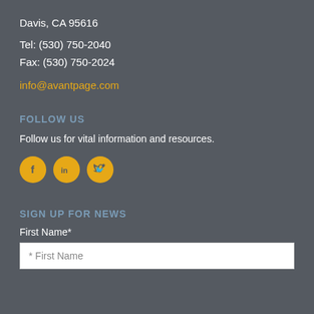Davis, CA 95616
Tel: (530) 750-2040
Fax: (530) 750-2024
info@avantpage.com
FOLLOW US
Follow us for vital information and resources.
[Figure (infographic): Three yellow circular social media icons: Facebook (f), LinkedIn (in), and Twitter (bird)]
SIGN UP FOR NEWS
First Name*
* First Name